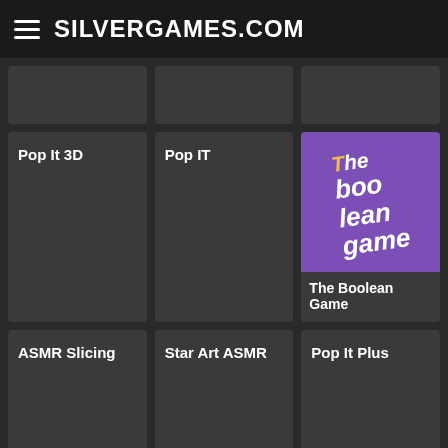SILVERGAMES.COM
[Figure (screenshot): Game card - empty thumbnail row 1 card 1]
[Figure (screenshot): Game card - empty thumbnail row 1 card 2]
[Figure (screenshot): Game card - empty thumbnail row 1 card 3]
[Figure (screenshot): Game card: Pop It 3D - dark card with title]
[Figure (screenshot): Game card: Pop IT - dark card with title]
[Figure (screenshot): Game card: The Boolean Game - purple thumbnail with stylized bold italic text, label below]
[Figure (screenshot): Game card: ASMR Slicing - dark card with title]
[Figure (screenshot): Game card: Star Art ASMR - dark card with title]
[Figure (screenshot): Game card: Pop It Plus - dark card with title]